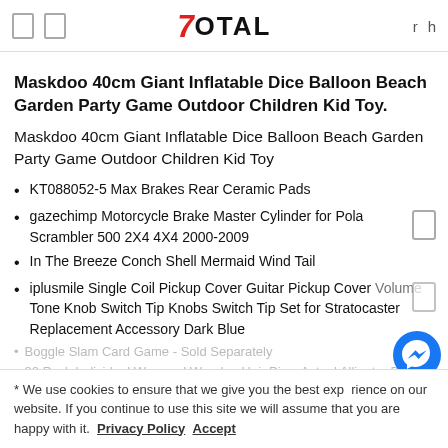7Total
Maskdoo 40cm Giant Inflatable Dice Balloon Beach Garden Party Game Outdoor Children Kid Toy.
Maskdoo 40cm Giant Inflatable Dice Balloon Beach Garden Party Game Outdoor Children Kid Toy
KT088052-5 Max Brakes Rear Ceramic Pads
gazechimp Motorcycle Brake Master Cylinder for Polaris Scrambler 500 2X4 4X4 2000-2009
In The Breeze Conch Shell Mermaid Wind Tail
iplusmile Single Coil Pickup Cover Guitar Pickup Cover Volume Tone Knob Switch Tip Knobs Switch Tip Set for Stratocaster Replacement Accessory Dark Blue
We use cookies to ensure that we give you the best experience on our website. If you continue to use this site we will assume that you are happy with it. Privacy Policy Accept